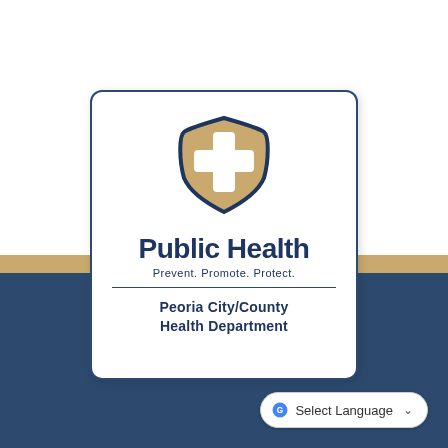[Figure (logo): Peoria City/County Health Department shield logo — a gold/tan shield with dark navy border containing a white medical cross symbol, centered at top of card]
Public Health
Prevent. Promote. Protect.
Peoria City/County Health Department
Select Language